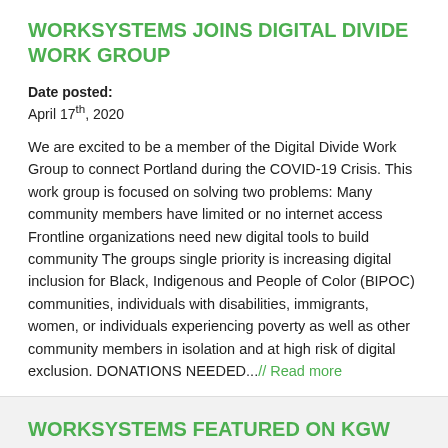WORKSYSTEMS JOINS DIGITAL DIVIDE WORK GROUP
Date posted:
April 17th, 2020
We are excited to be a member of the Digital Divide Work Group to connect Portland during the COVID-19 Crisis. This work group is focused on solving two problems: Many community members have limited or no internet access Frontline organizations need new digital tools to build community The groups single priority is increasing digital inclusion for Black, Indigenous and People of Color (BIPOC) communities, individuals with disabilities, immigrants, women, or individuals experiencing poverty as well as other community members in isolation and at high risk of digital exclusion. DONATIONS NEEDED...// Read more
WORKSYSTEMS FEATURED ON KGW